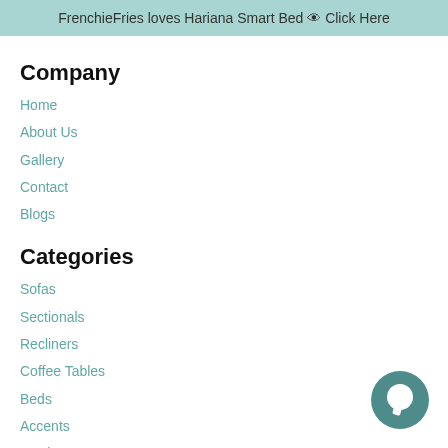FrenchieFries loves Hariana Smart Bed 🛏 Click Here
Company
Home
About Us
Gallery
Contact
Blogs
Categories
Sofas
Sectionals
Recliners
Coffee Tables
Beds
Accents
Outdoor
[Figure (illustration): Chat bubble icon (teal circle with white chat symbol) in bottom right corner]